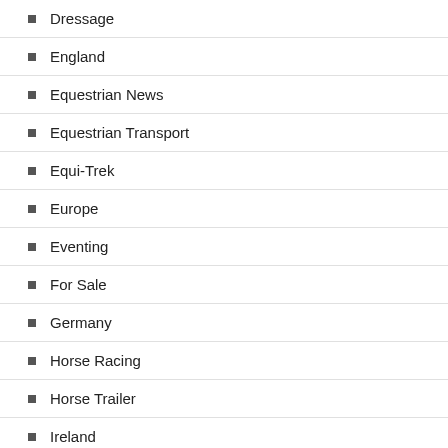Dressage
England
Equestrian News
Equestrian Transport
Equi-Trek
Europe
Eventing
For Sale
Germany
Horse Racing
Horse Trailer
Ireland
Olympics
Polo
Scotland